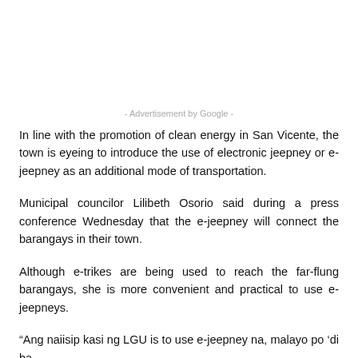- Advertisement by Google -
In line with the promotion of clean energy in San Vicente, the town is eyeing to introduce the use of electronic jeepney or e-jeepney as an additional mode of transportation.
Municipal councilor Lilibeth Osorio said during a press conference Wednesday that the e-jeepney will connect the barangays in their town.
Although e-trikes are being used to reach the far-flung barangays, she is more convenient and practical to use e-jeepneys.
“Ang naiisip kasi ng LGU is to use e-jeepney na, malayo po ‘di ba